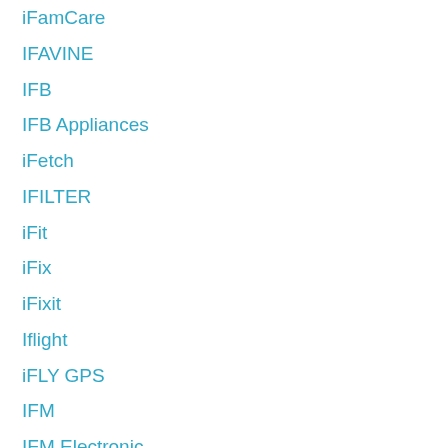iFamCare
IFAVINE
IFB
IFB Appliances
iFetch
IFILTER
iFit
iFix
iFixit
Iflight
iFLY GPS
IFM
IFM Electronic
IFOOTAGE
Ifor Williams Trailers